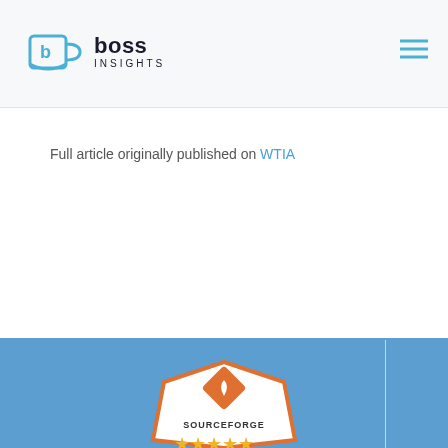boss INSIGHTS
Full article originally published on WTIA
[Figure (logo): SourceForge badge with stars rating, partially visible at bottom of page]